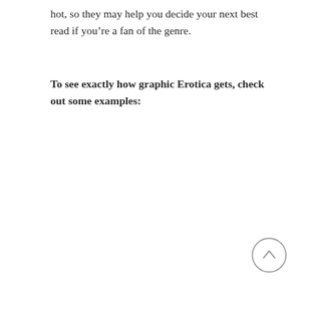hot, so they may help you decide your next best read if you're a fan of the genre.
To see exactly how graphic Erotica gets, check out some examples: